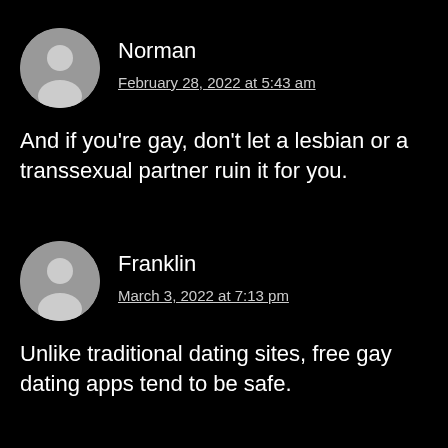Norman
February 28, 2022 at 5:43 am
And if you're gay, don't let a lesbian or a transsexual partner ruin it for you.
Franklin
March 3, 2022 at 7:13 pm
Unlike traditional dating sites, free gay dating apps tend to be safe.